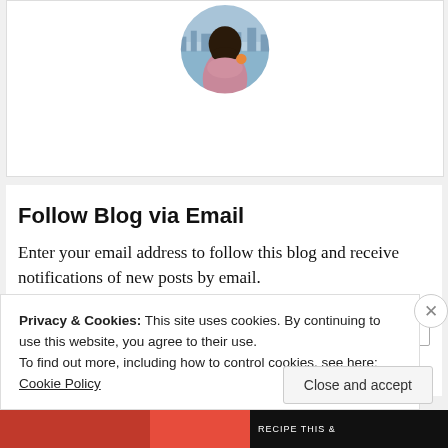[Figure (photo): Circular profile photo of a woman in a pink jacket, cropped at top, shown against a backdrop with water/city view]
Follow Blog via Email
Enter your email address to follow this blog and receive notifications of new posts by email.
Email Address (input field placeholder)
Privacy & Cookies: This site uses cookies. By continuing to use this website, you agree to their use.
To find out more, including how to control cookies, see here: Cookie Policy
Close and accept